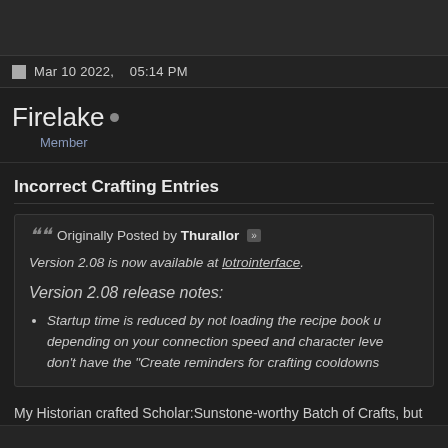Mar 10 2022,    05:14 PM
Firelake • Member
Incorrect Crafting Entries
Originally Posted by Thurallor
Version 2.08 is now available at lotrointerface.
Version 2.08 release notes:
• Startup time is reduced by not loading the recipe book u... depending on your connection speed and character leve... don't have the "Create reminders for crafting cooldowns..."
My Historian crafted Scholar:Sunstone-worthy Batch of Crafts, but the